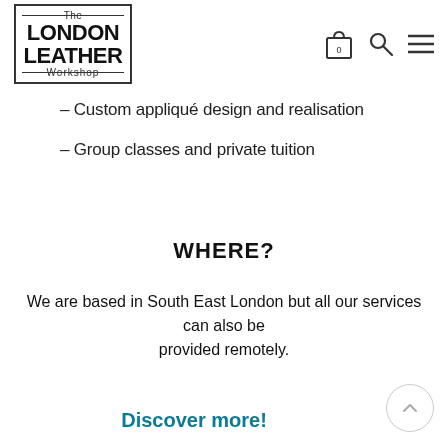[Figure (logo): The London Leather Workshop logo — text in a rectangular border with decorative lines]
[Figure (infographic): Shopping bag icon with 0, magnifying glass icon, and hamburger menu icon in navigation header]
– Custom appliqué design and realisation
– Group classes and private tuition
WHERE?
We are based in South East London but all our services can also be provided remotely.
Discover more!